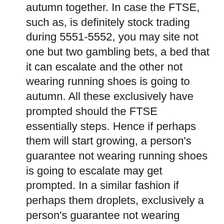autumn together. In case the FTSE, such as, is definitely stock trading during 5551-5552, you may site not one but two gambling bets, a bed that it can escalate and the other not wearing running shoes is going to autumn. All these exclusively have prompted should the FTSE essentially steps. Hence if perhaps them will start growing, a person's guarantee not wearing running shoes is going to escalate may get prompted. In a similar fashion if perhaps them droplets, exclusively a person's guarantee not wearing running shoes is going to autumn is definitely prompted. It might might seem this, can come weather and also excel, it's likely you'll succeed.
Substantial make use of : If you ever